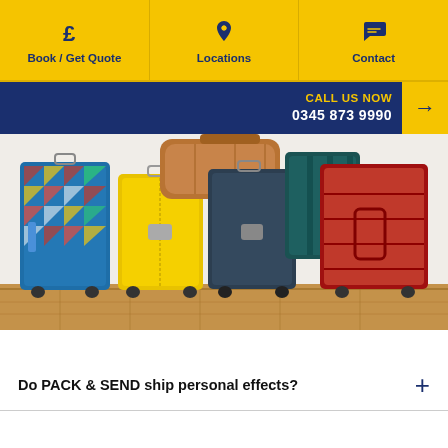Book / Get Quote | Locations | Contact
CALL US NOW
0345 873 9990
[Figure (photo): Five pieces of luggage standing upright against a white wall on a wooden floor: a blue patterned hard-shell case, a yellow hard-shell case, a tan leather holdall bag on top, a dark navy hard-shell case, a dark teal hard-shell case, and a red hard-shell case.]
Do PACK & SEND ship personal effects?